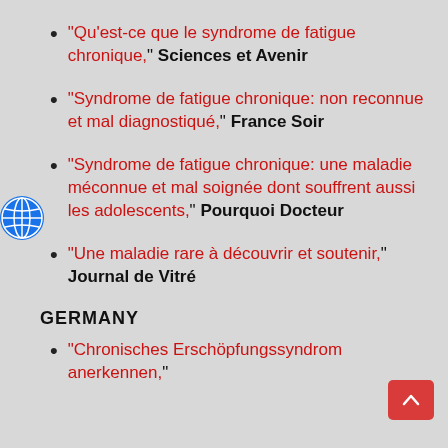"Qu'est-ce que le syndrome de fatigue chronique," Sciences et Avenir
"Syndrome de fatigue chronique: non reconnue et mal diagnostiqué," France Soir
"Syndrome de fatigue chronique: une maladie méconnue et mal soignée dont souffrent aussi les adolescents," Pourquoi Docteur
"Une maladie rare à découvrir et soutenir," Journal de Vitré
GERMANY
"Chronisches Erschöpfungssyndrom anerkennen,"